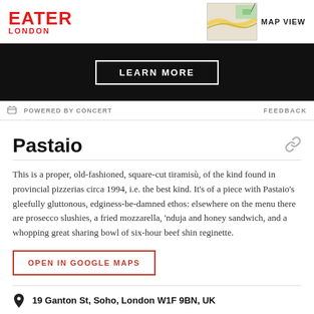EATER LONDON | MAP VIEW
[Figure (screenshot): Ad banner with black background and 'LEARN MORE' button in white outline]
POWERED BY CONCERT | FEEDBACK
Pastaio
This is a proper, old-fashioned, square-cut tiramisù, of the kind found in provincial pizzerias circa 1994, i.e. the best kind. It's of a piece with Pastaio's gleefully gluttonous, edginess-be-damned ethos: elsewhere on the menu there are prosecco slushies, a fried mozzarella, 'nduja and honey sandwich, and a whopping great sharing bowl of six-hour beef shin reginette.
OPEN IN GOOGLE MAPS
19 Ganton St, Soho, London W1F 9BN, UK
Visit Website